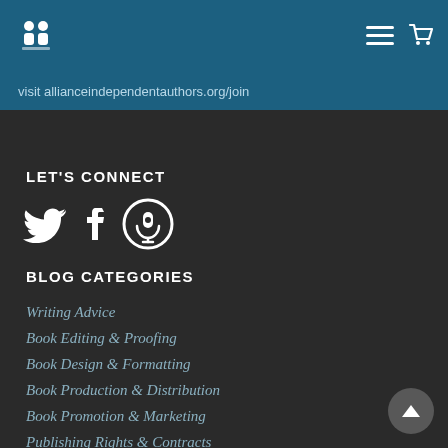Navigation bar with logo, hamburger menu, and cart icon
visit allianceindependentauthors.org/join
LET'S CONNECT
[Figure (other): Social media icons: Twitter bird, Facebook f, Podcast microphone]
BLOG CATEGORIES
Writing Advice
Book Editing & Proofing
Book Design & Formatting
Book Production & Distribution
Book Promotion & Marketing
Publishing Rights & Contracts
Watchdog Reports